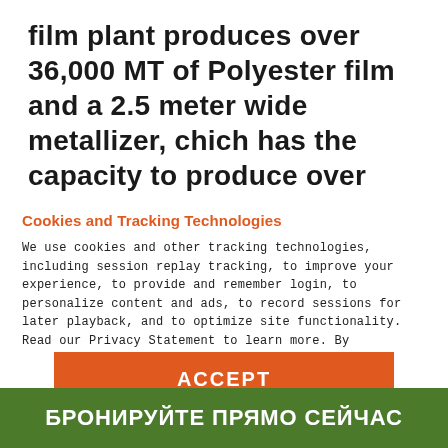film plant produces over 36,000 MT of Polyester film and a 2.5 meter wide metallizer, chich has the capacity to produce over 6000 MT of high barrier plasma metallized film
Cookies and Tracking Technologies
We use cookies and other tracking technologies, including session replay tracking, to improve your experience, to provide and remember login, to personalize content and ads, to record sessions for later playback, and to optimize site functionality. Read our Privacy Statement to learn more. By continuing, you consent to our use of these tracking technologies and our terms including important waivers. To learn more about the trackers on our site and change your preferences, View Settings.
ACCEPT
БРОНИРУЙТЕ ПРЯМО СЕЙЧАС